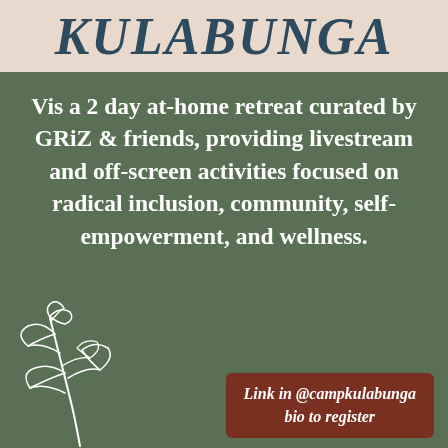KULABUNGA
Vis a 2 day at-home retreat curated by GRiZ & friends, providing livestream and off-screen activities focused on radical inclusion, community, self-empowerment, and wellness.
[Figure (illustration): Line drawing of a plant with leaves and branches in white on green background, bottom left corner]
Link in @campkulabunga bio to register